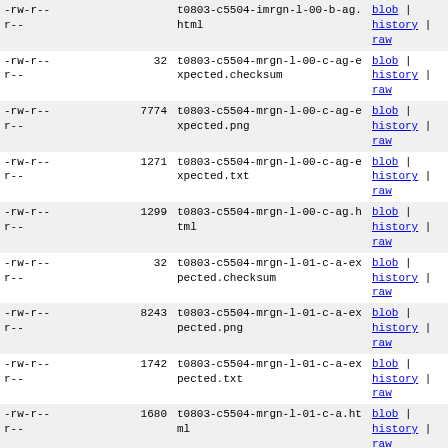| permissions | size | filename | links |
| --- | --- | --- | --- |
| -rw-r--r-- |  | t0803-c5504-imrgn-l-00-b-ag.html | blob | history | raw |
| -rw-r--r-- | 32 | t0803-c5504-mrgn-l-00-c-ag-expected.checksum | blob | history | raw |
| -rw-r--r-- | 7774 | t0803-c5504-mrgn-l-00-c-ag-expected.png | blob | history | raw |
| -rw-r--r-- | 1271 | t0803-c5504-mrgn-l-00-c-ag-expected.txt | blob | history | raw |
| -rw-r--r-- | 1299 | t0803-c5504-mrgn-l-00-c-ag.html | blob | history | raw |
| -rw-r--r-- | 32 | t0803-c5504-mrgn-l-01-c-a-expected.checksum | blob | history | raw |
| -rw-r--r-- | 8243 | t0803-c5504-mrgn-l-01-c-a-expected.png | blob | history | raw |
| -rw-r--r-- | 1742 | t0803-c5504-mrgn-l-01-c-a-expected.txt | blob | history | raw |
| -rw-r--r-- | 1680 | t0803-c5504-mrgn-l-01-c-a.html | blob | history | raw |
| -rw-r--r-- | 32 | t0803-c5504-mrgn-l-02-c-expected.checksum | blob | history | raw |
| -rw-r--r-- | 7673 | t0803-c5504-mrgn-l-02-c-expected.png | blob | history | raw |
| -rw-r--r-- | 376 | t0803-c5504-mrgn-l-02-c-expected.txt | blob | history | raw |
| -rw-r--r-- | 805 | t0803-c5504-mrgn-l-02-c.html | blob | |